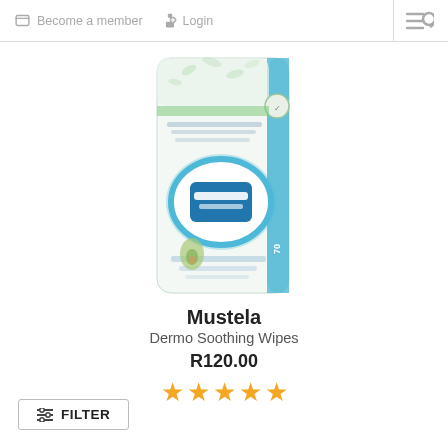Become a member   Login
[Figure (photo): Mustela Dermo Soothing Wipes product package — white packet with blue oval lid, light green leaf patterns, blue stripe on side, text in multiple languages, 70 wipes.]
Mustela
Dermo Soothing Wipes
R120.00
★★★★★
FILTER